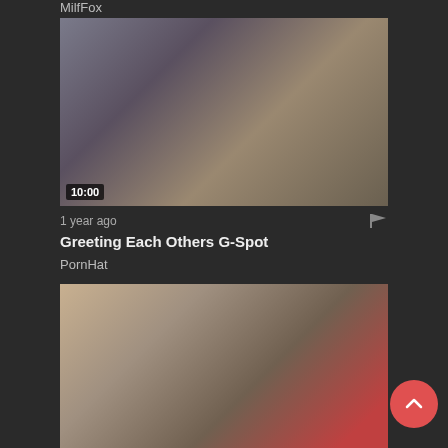MilfFox
[Figure (photo): Video thumbnail showing two women with surprised expressions, duration 10:00]
1 year ago
Greeting Each Others G-Spot
PornHat
[Figure (photo): Video thumbnail showing a man and woman on a bed]